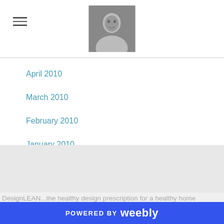April 2010
March 2010
February 2010
January 2010
DesignLEAN...the healthy design prescription for a healthy home DesignLEAN...the healthy design prescription for a healthy home
POWERED BY weebly